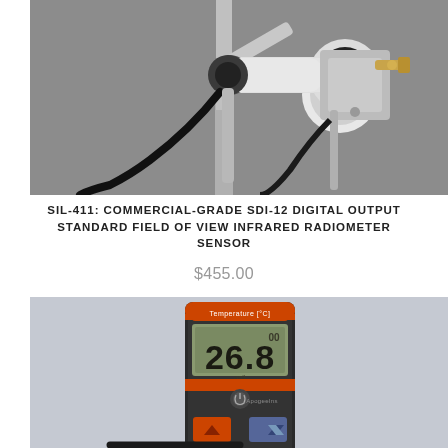[Figure (photo): Close-up photo of a scientific infrared radiometer sensor mounted on a stand, with white cylindrical tube, metal mounting bracket, and cable, on grey background.]
SIL-411: COMMERCIAL-GRADE SDI-12 DIGITAL OUTPUT STANDARD FIELD OF VIEW INFRARED RADIOMETER SENSOR
$455.00
[Figure (photo): Photo of a handheld digital temperature meter/radiometer device displaying 26.8 degrees Celsius, with orange and dark grey casing and a cable, on light grey background. A 'More Info' button circle is overlaid on the right side.]